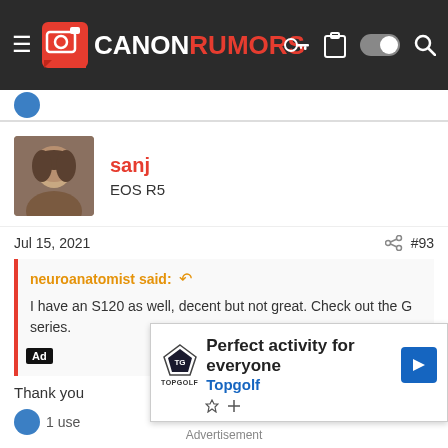CANONRUMORS
sanj
EOS R5
Jul 15, 2021  #93
neuroanatomist said: ↺
I have an S120 as well, decent but not great. Check out the G series.
Thank you
[Figure (screenshot): Topgolf advertisement banner: 'Perfect activity for everyone' with Topgolf logo and blue arrow icon]
Advertisement